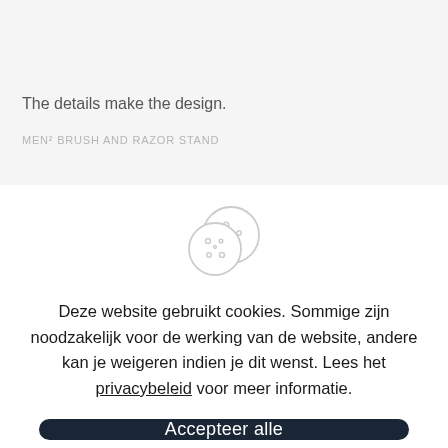The details make the design.
MEN² BRUSH AND RAZOR STAND
[Figure (illustration): Cookie icon: two overlapping cookie/biscuit circles with dots, drawn in light gray outline style]
Deze website gebruikt cookies. Sommige zijn noodzakelijk voor de werking van de website, andere kan je weigeren indien je dit wenst. Lees het privacybeleid voor meer informatie.
Accepteer alle
Aanpassen